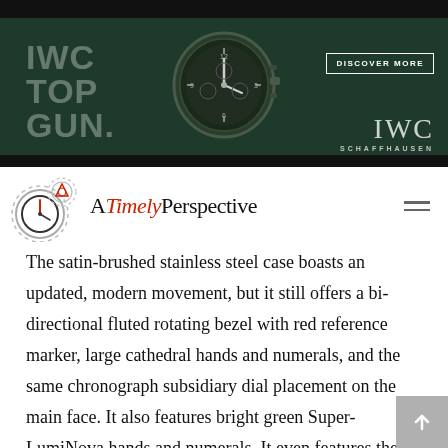[Figure (illustration): IWC Top Gun advertisement banner with dark green background, large watch in center, 'IWC TOP GUN.' text on left, 'DISCOVER MORE' button and IWC SCHAFFHAUSEN logo on right]
A Timely Perspective
The satin-brushed stainless steel case boasts an updated, modern movement, but it still offers a bi-directional fluted rotating bezel with red reference marker, large cathedral hands and numerals, and the same chronograph subsidiary dial placement on the main face. It also features bright green Super-LumiNova hands and numerals. It even features the Tutima logo in the same type font as the original. It is powered by a hand-wound ETA Valjoux Caliber 7760 that has been modified by Tutima